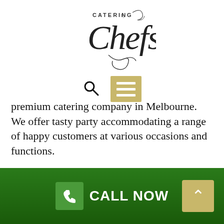[Figure (logo): Catering by Chefs logo — stylized script text with decorative flourish]
[Figure (infographic): Navigation bar with search icon (magnifying glass) and gold hamburger menu button]
premium catering company in Melbourne. We offer tasty party accommodating a range of happy customers at various occasions and functions.
We make certain to serve you the finest food, handpicked by our experienced home caterers to organise the best function.
Whether it's BBQ catering, a cocktail party in the house, a big business occasion, or just looking for birthday catering in Syndal, we've got you covered
[Figure (infographic): Green footer bar with white phone icon box and CALL NOW text on left, gold up-arrow button on right]